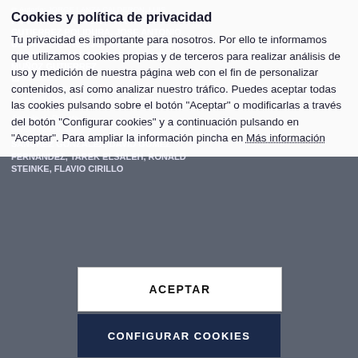Autoría: JORGE LANZA CALDERON, LUIS SANCHEZ GONZALEZ, VERONICA GUTIERREZ POLIDURA, JOSE ANTONIO GALACHE LORET, JUAN RAMON SANTANA MARTINEZ, PABLO COTRES GARCIA, LUIS MUÑOZ GUTIERREZ
06/05/2016
Citations: 40 | Altmetric: 15 | PlumY Metric
...cept for semantically interoperable federation of IoT experimentation facilities
Artículo de Revista
Sensors 2016, 16(7): 1000
SANCHEZ GONZALEZ, DAVID GOMEZ FERNANDEZ, TAREK ELSALEH, RONALD STEINKE, FLAVIO CIRILLO
Cookies y política de privacidad
Tu privacidad es importante para nosotros. Por ello te informamos que utilizamos cookies propias y de terceros para realizar análisis de uso y medición de nuestra página web con el fin de personalizar contenidos, así como analizar nuestro tráfico. Puedes aceptar todas las cookies pulsando sobre el botón "Aceptar" o modificarlas a través del botón "Configurar cookies" y a continuación pulsando en "Aceptar". Para ampliar la información pincha en Más información
ACEPTAR
CONFIGURAR COOKIES